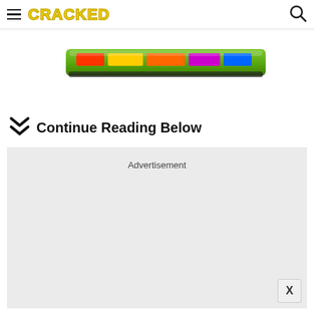CRACKED
[Figure (photo): Partial view of a colorful candy bar or snack package, green with colorful text, on white background]
Continue Reading Below
Advertisement